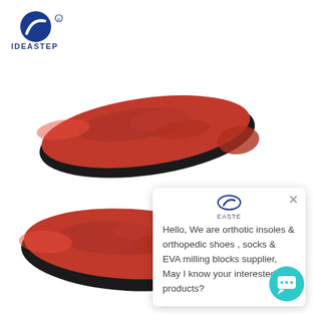[Figure (photo): Two red orthotic insoles with black base shown from above, one pair stacked and one below, on white background. IDEASTEP logo with blue circular icon and registered trademark symbol in top left.]
Hello, We are orthotic insoles & orthopedic shoes , socks & EVA milling blocks supplier, May I know your interested products?